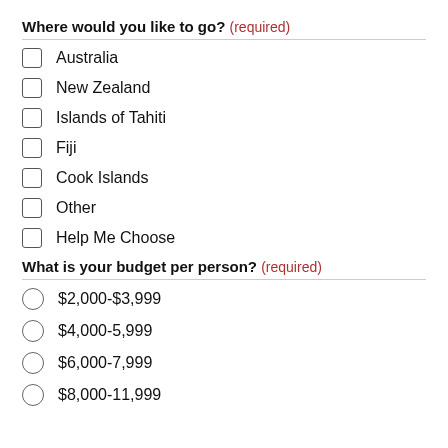Where would you like to go? (required)
Australia
New Zealand
Islands of Tahiti
Fiji
Cook Islands
Other
Help Me Choose
What is your budget per person? (required)
$2,000-$3,999
$4,000-5,999
$6,000-7,999
$8,000-11,999